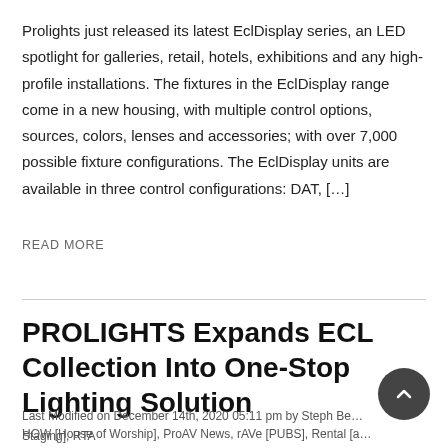Prolights just released its latest EclDisplay series, an LED spotlight for galleries, retail, hotels, exhibitions and any high-profile installations. The fixtures in the EclDisplay range come in a new housing, with multiple control options, sources, colors, lenses and accessories; with over 7,000 possible fixture configurations. The EclDisplay units are available in three control configurations: DAT, […]
READ MORE
PROLIGHTS Expands ECL Collection Into One-Stop Lighting Solution
Last Modified on December 14th, 2020 05:11 pm by Steph Be…
HOW [House of Worship], ProAV News, rAVe [PUBS], Rental [a…
Staging], RTA